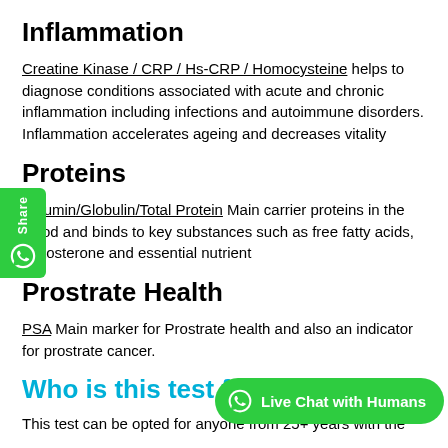Inflammation
Creatine Kinase / CRP / Hs-CRP / Homocysteine helps to diagnose conditions associated with acute and chronic inflammation including infections and autoimmune disorders. Inflammation accelerates ageing and decreases vitality
Proteins
Albumin/Globulin/Total Protein Main carrier proteins in the blood and binds to key substances such as free fatty acids, testosterone and essential nutrient
Prostrate Health
PSA Main marker for Prostrate health and also an indicator for prostrate cancer.
Who is this test for
This test can be opted for anyone from 25+ years with the